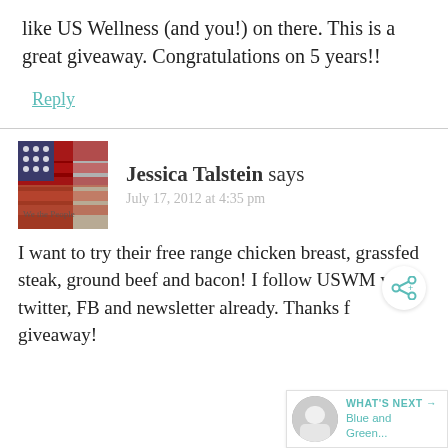like US Wellness (and you!) on there. This is a great giveaway. Congratulations on 5 years!!
Reply
Jessica Talstein says
July 17, 2012 at 4:35 pm
I want to try their free range chicken breast, grassfed steak, ground beef and bacon! I follow USWM via twitter, FB and newsletter already. Thanks for the giveaway!